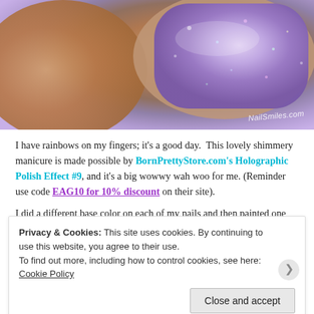[Figure (photo): Close-up photo of a finger with a shimmery holographic purple nail polish, with watermark 'NailSmiles.com' in the bottom right corner]
I have rainbows on my fingers; it's a good day. This lovely shimmery manicure is made possible by BornPrettyStore.com's Holographic Polish Effect #9, and it's a big wowwy wah woo for me. (Reminder use code EAG10 for 10% discount on their site).
I did a different base color on each of my nails and then painted one and two coats of the holographic polish on top. I can't decide how I like it more, because both styles are equally pretty. My thumb has a white
Privacy & Cookies: This site uses cookies. By continuing to use this website, you agree to their use.
To find out more, including how to control cookies, see here: Cookie Policy
Close and accept